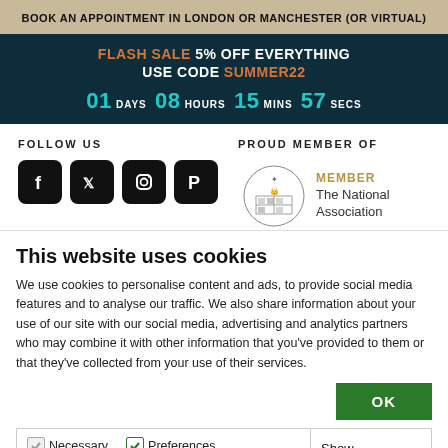BOOK AN APPOINTMENT IN LONDON OR MANCHESTER (OR VIRTUAL)
FLASH SALE 5% OFF EVERYTHING USE CODE SUMMER22 01 DAYS 08 HOURS 15 MINS 57 SECS
FOLLOW US
[Figure (infographic): Social media icons: Facebook, Twitter, Instagram, Pinterest]
PROUD MEMBER OF
[Figure (logo): The National Association member crest logo with MEMBER text]
This website uses cookies
We use cookies to personalise content and ads, to provide social media features and to analyse our traffic. We also share information about your use of our site with our social media, advertising and analytics partners who may combine it with other information that you've provided to them or that they've collected from your use of their services.
OK
Necessary  Preferences  Statistics  Marketing  Show details